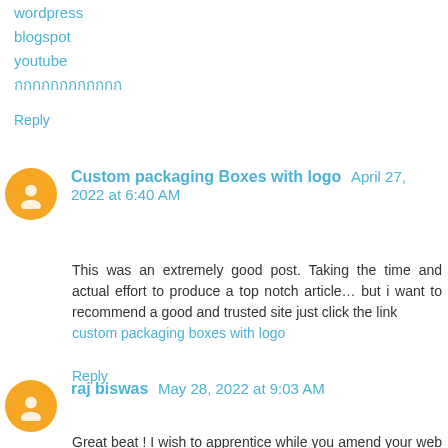wordpress
blogspot
youtube
กกกกกกกกกกกก
Reply
Custom packaging Boxes with logo  April 27, 2022 at 6:40 AM
This was an extremely good post. Taking the time and actual effort to produce a top notch article… but i want to recommend a good and trusted site just click the link
custom packaging boxes with logo
Reply
raj biswas  May 28, 2022 at 9:03 AM
Great beat ! I wish to apprentice while you amend your web site, how can i subscribe for a blog website?
The account helped me a acceptable deal. I had been a